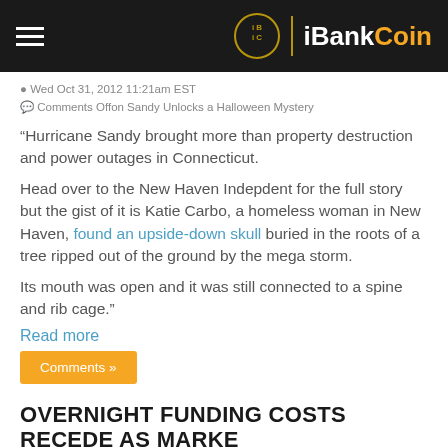iBankCoin
Wed Oct 31, 2012 11:21am EST
Comments Offon Sandy Unlocks a Halloween Mystery
“Hurricane Sandy brought more than property destruction and power outages in Connecticut.
Head over to the New Haven Indepdent for the full story but the gist of it is Katie Carbo, a homeless woman in New Haven, found an upside-down skull buried in the roots of a tree ripped out of the ground by the mega storm.
Its mouth was open and it was still connected to a spine and rib cage.”
Read more
Comments »
OVERNIGHT FUNDING COSTS RECEDE AS MARKETS OPEN AFTER FRANKENSTORM SANDY